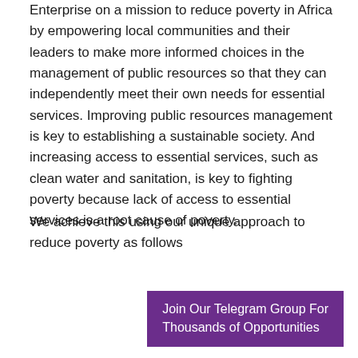Enterprise on a mission to reduce poverty in Africa by empowering local communities and their leaders to make more informed choices in the management of public resources so that they can independently meet their own needs for essential services. Improving public resources management is key to establishing a sustainable society. And increasing access to essential services, such as clean water and sanitation, is key to fighting poverty because lack of access to essential services is a root cause of poverty.
We achieve this using our unique approach to reduce poverty as follows
[Figure (other): Purple bordered box with purple background containing white text: 'Join Our Telegram Group For Thousands of Opportunities']